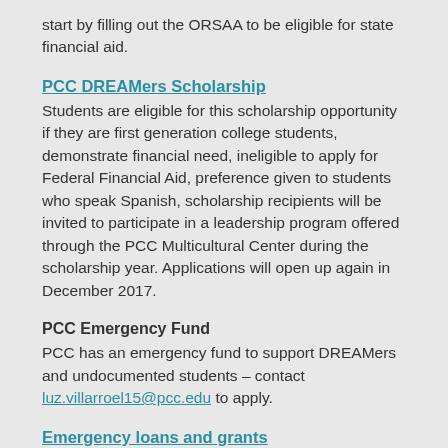start by filling out the ORSAA to be eligible for state financial aid.
PCC DREAMers Scholarship
Students are eligible for this scholarship opportunity if they are first generation college students, demonstrate financial need, ineligible to apply for Federal Financial Aid, preference given to students who speak Spanish, scholarship recipients will be invited to participate in a leadership program offered through the PCC Multicultural Center during the scholarship year. Applications will open up again in December 2017.
PCC Emergency Fund
PCC has an emergency fund to support DREAMers and undocumented students – contact luz.villarroel15@pcc.edu to apply.
Emergency loans and grants
The college has limited funds either in small grant form (free money) or short-term, interest-free loans